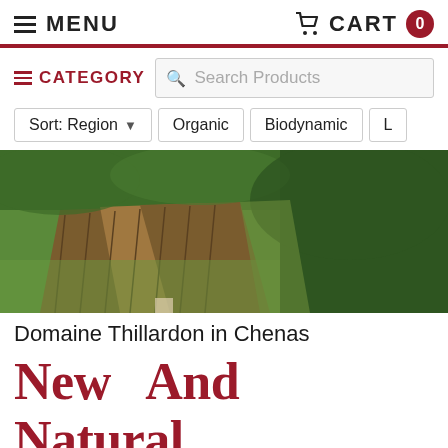MENU | CART 0
CATEGORY | Search Products
Sort: Region | Organic | Biodynamic | L
[Figure (photo): Aerial view of vineyard terraces at Domaine Thillardon in Chenas, showing rows of vines on hillside]
Domaine Thillardon in Chenas
New And Natural Beaujolais: Chr Ducroux (!) Jean-G